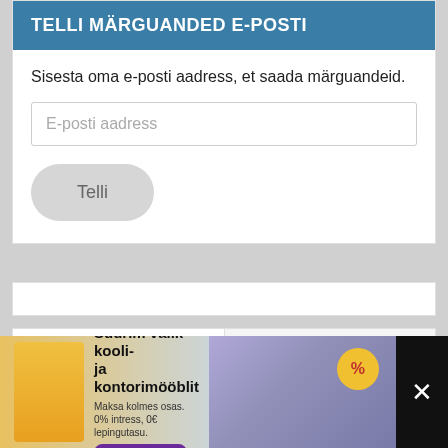TELLI MÄRGUANDED E-POSTI
Sisesta oma e-posti aadress, et saada märguandeid.
E-posti aadress
Telli
Loetumad
Viimased
KUUM: Hiina enam ei eita, et uus koroonaviirus on bioloogiline relv, mis
[Figure (photo): News article thumbnail image]
[Figure (photo): Advertisement banner for furniture store: Suurim valik kooli- ja kontorimööblit. Maksa kolmes osas. 0% intress, 0€ lepingutasu. www.on24.ee]